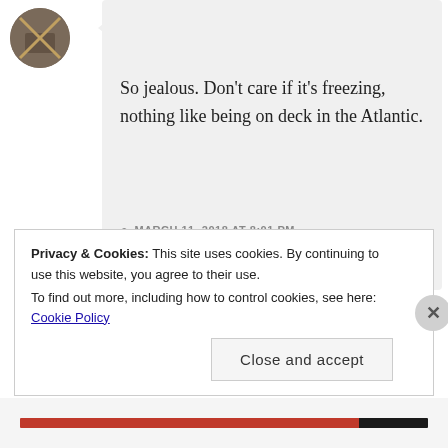autumnashbough
So jealous. Don't care if it's freezing, nothing like being on deck in the Atlantic.
MARCH 11, 2018 AT 8:01 PM
REPLY
Privacy & Cookies: This site uses cookies. By continuing to use this website, you agree to their use.
To find out more, including how to control cookies, see here: Cookie Policy
Close and accept